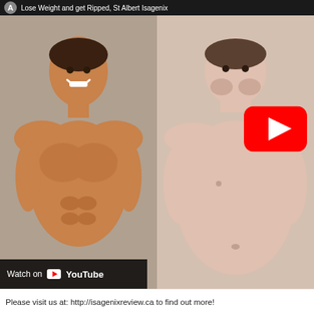Lose Weight and get Ripped, St Albert Isagenix
[Figure (screenshot): YouTube video thumbnail showing a before-and-after fitness comparison. Left panel shows a muscular, lean man with a big smile. Right panel shows an overweight man with a YouTube play button overlay. A 'Watch on YouTube' bar appears at the bottom left of the video.]
Please visit us at: http://isagenixreview.ca to find out more!